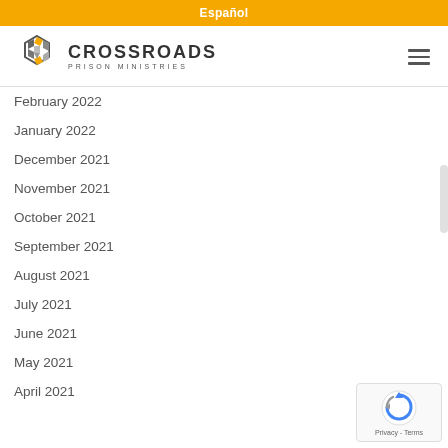Español
[Figure (logo): Crossroads Prison Ministries logo with hexagon icon and text CROSSROADS PRISON MINISTRIES]
February 2022
January 2022
December 2021
November 2021
October 2021
September 2021
August 2021
July 2021
June 2021
May 2021
April 2021